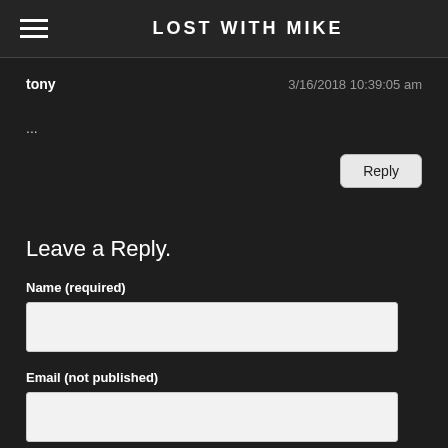LOST WITH MIKE
tony
3/16/2018 10:39:05 am
...
Reply
Leave a Reply.
Name (required)
Email (not published)